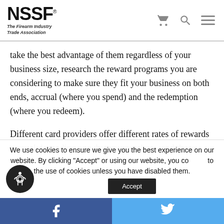NSSF® The Firearm Industry Trade Association
take the best advantage of them regardless of your business size, research the reward programs you are considering to make sure they fit your business on both ends, accrual (where you spend) and the redemption (where you redeem).
Different card providers offer different rates of rewards accrual depending on what you purchase, and those
We use cookies to ensure we give you the best experience on our website. By clicking "Accept" or using our website, you consent to the use of cookies unless you have disabled them.